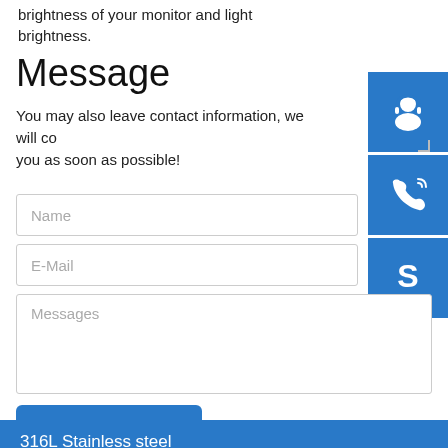brightness of your monitor and light brightness.
Message
You may also leave contact information, we will contact you as soon as possible!
[Figure (illustration): Blue square icon with white customer support/headset person silhouette]
[Figure (illustration): Blue square icon with white telephone/call icon]
[Figure (illustration): Blue square icon with white Skype logo]
Name
E-Mail
Messages
Send Message
316L Stainless steel